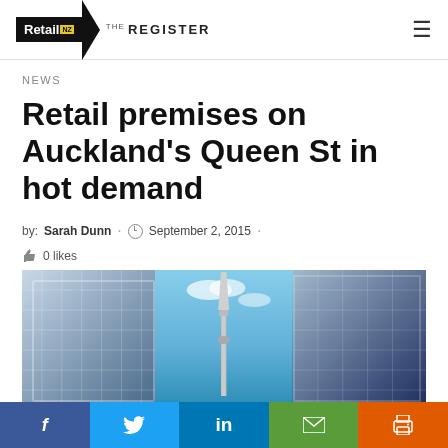Retail NZ THE REGISTER
NEWS
Retail premises on Auckland's Queen St in hot demand
by: Sarah Dunn · September 2, 2015 · 0 likes
[Figure (photo): Photo of Auckland city buildings with the Sky Tower visible in the centre, tall glass office buildings on either side, blue sky with clouds]
f | Twitter | in | email | print